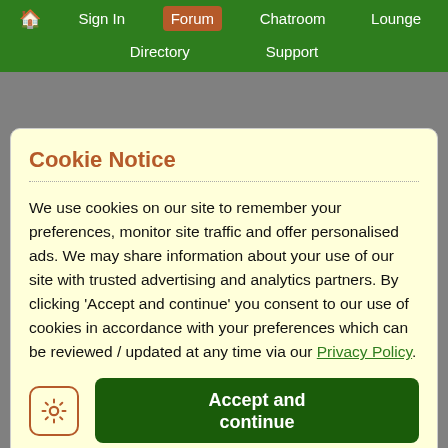🏠 Sign In | Forum | Chatroom | Lounge | Directory | Support
I'm with you: Fine if helping them actually helped. But it doesn't, does it. So what's the point in
Cookie Notice
We use cookies on our site to remember your preferences, monitor site traffic and offer personalised ads. We may share information about your use of our site with trusted advertising and analytics partners. By clicking 'Accept and continue' you consent to our use of cookies in accordance with your preferences which can be reviewed / updated at any time via our Privacy Policy.
attitudes.